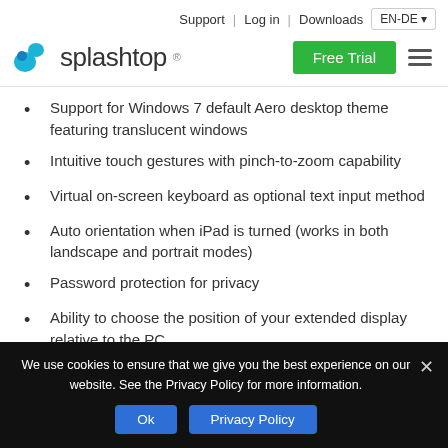Support | Log in | Downloads EN-DE
[Figure (logo): Splashtop logo with teal splash icon and wordmark]
Support for Windows 7 default Aero desktop theme featuring translucent windows
Intuitive touch gestures with pinch-to-zoom capability
Virtual on-screen keyboard as optional text input method
Auto orientation when iPad is turned (works in both landscape and portrait modes)
Password protection for privacy
Ability to choose the position of your extended display relative to the PC
We use cookies to ensure that we give you the best experience on our website. See the Privacy Policy for more information.